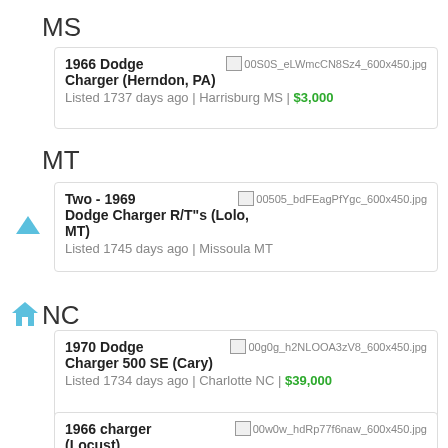MS
1966 Dodge Charger (Herndon, PA)
Listed 1737 days ago | Harrisburg MS | $3,000
MT
Two - 1969 Dodge Charger R/T"s (Lolo, MT)
Listed 1745 days ago | Missoula MT
NC
1970 Dodge Charger 500 SE (Cary)
Listed 1734 days ago | Charlotte NC | $39,000
1966 charger (Locust)
Listed 1744 days ago | Charlotte NC